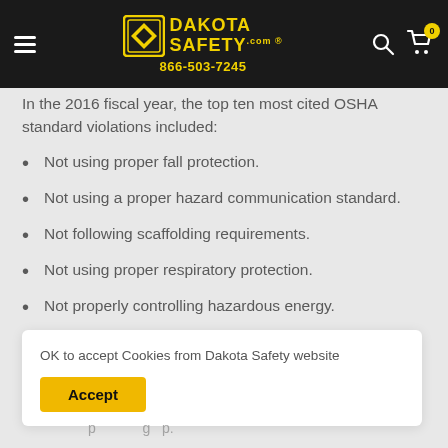Dakota Safety 866-503-7245
In the 2016 fiscal year, the top ten most cited OSHA standard violations included:
Not using proper fall protection.
Not using a proper hazard communication standard.
Not following scaffolding requirements.
Not using proper respiratory protection.
Not properly controlling hazardous energy.
Not following OSHA standards for use of ladders.
OK to accept Cookies from Dakota Safety website
Accept